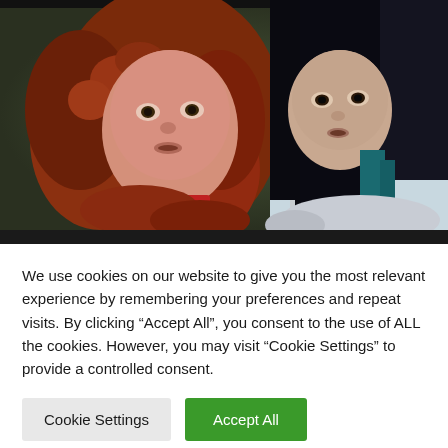[Figure (photo): Two women looking alarmed or surprised. Left: woman with curly red hair, red collar. Right: woman with straight black hair, wearing a light-colored jacket. Both facing the camera with wide eyes in an outdoor setting.]
We use cookies on our website to give you the most relevant experience by remembering your preferences and repeat visits. By clicking “Accept All”, you consent to the use of ALL the cookies. However, you may visit "Cookie Settings" to provide a controlled consent.
Cookie Settings   Accept All